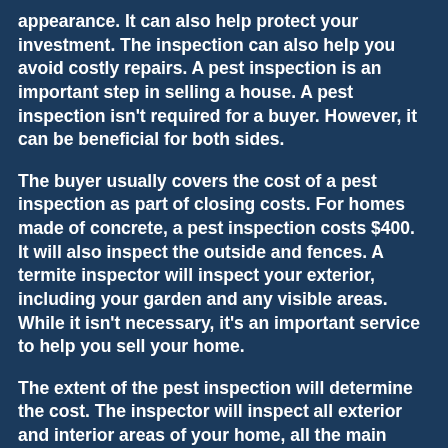appearance. It can also help protect your investment. The inspection can also help you avoid costly repairs. A pest inspection is an important step in selling a house. A pest inspection isn't required for a buyer. However, it can be beneficial for both sides.
The buyer usually covers the cost of a pest inspection as part of closing costs. For homes made of concrete, a pest inspection costs $400. It will also inspect the outside and fences. A termite inspector will inspect your exterior, including your garden and any visible areas. While it isn't necessary, it's an important service to help you sell your home.
The extent of the pest inspection will determine the cost. The inspector will inspect all exterior and interior areas of your home, all the main areas of...